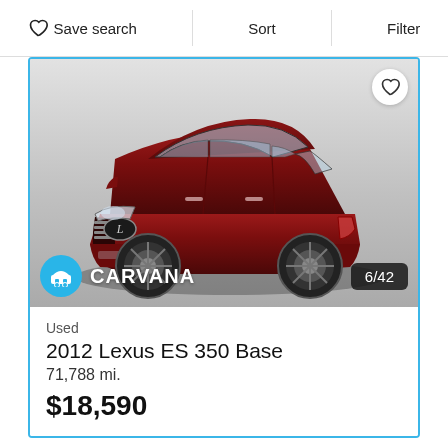Save search   Sort   Filter
[Figure (photo): Red 2012 Lexus ES 350 Base sedan photographed against a gray studio background with a Carvana watermark. A heart/favorite icon appears in the top-right corner of the image. The Carvana logo and brand name appear at the bottom left of the image, and a '6/42' photo counter badge appears at the bottom right.]
Used
2012 Lexus ES 350 Base
71,788 mi.
$18,590